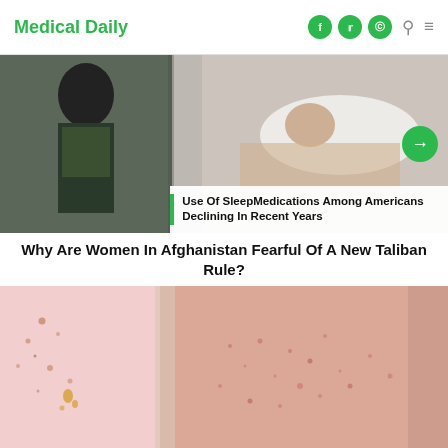Medical Daily
[Figure (photo): Split image: left side shows a woman in black hijab and mask standing; right side shows a woman lying on a bed/pillow. Overlay card reads: Use Of SleepMedications Among Americans Declining In Recent Years. Green arrow navigation button on right.]
Use Of SleepMedications Among Americans Declining In Recent Years
Why Are Women In Afghanistan Fearful Of A New Taliban Rule?
[Figure (photo): Close-up photo of skin (torso/back area) with rashes/spots visible, set against a pink background with scattered paint dots.]